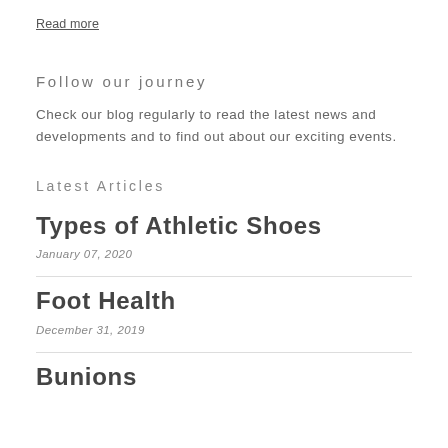Read more
Follow our journey
Check our blog regularly to read the latest news and developments and to find out about our exciting events.
Latest Articles
Types of Athletic Shoes
January 07, 2020
Foot Health
December 31, 2019
Bunions